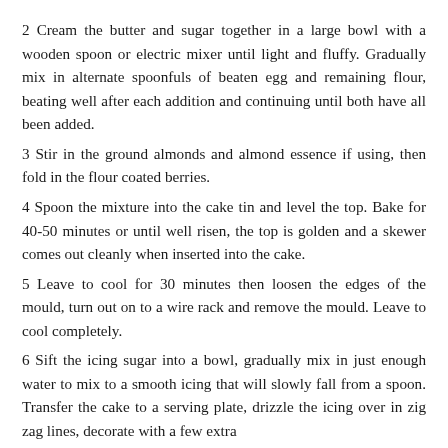2 Cream the butter and sugar together in a large bowl with a wooden spoon or electric mixer until light and fluffy. Gradually mix in alternate spoonfuls of beaten egg and remaining flour, beating well after each addition and continuing until both have all been added.
3 Stir in the ground almonds and almond essence if using, then fold in the flour coated berries.
4 Spoon the mixture into the cake tin and level the top. Bake for 40-50 minutes or until well risen, the top is golden and a skewer comes out cleanly when inserted into the cake.
5 Leave to cool for 30 minutes then loosen the edges of the mould, turn out on to a wire rack and remove the mould. Leave to cool completely.
6 Sift the icing sugar into a bowl, gradually mix in just enough water to mix to a smooth icing that will slowly fall from a spoon. Transfer the cake to a serving plate, drizzle the icing over in zig zag lines, decorate with a few extra